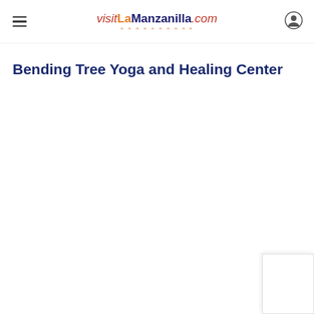visitLaManzanilla.com
Bending Tree Yoga and Healing Center